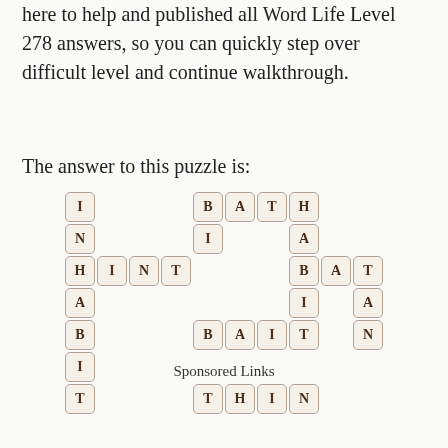here to help and published all Word Life Level 278 answers, so you can quickly step over difficult level and continue walkthrough.
The answer to this puzzle is:
[Figure (illustration): Crossword-style word puzzle grid showing interlocking words: INHABIT (vertical), BATH (horizontal), HINT (horizontal), BAIT (horizontal), THIN (horizontal), HABITAT (crossing), TAN (vertical), with letter tiles styled as cream/beige rounded squares with brown borders.]
Sponsored Links